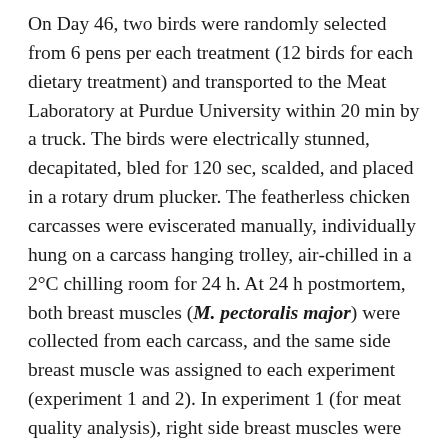On Day 46, two birds were randomly selected from 6 pens per each treatment (12 birds for each dietary treatment) and transported to the Meat Laboratory at Purdue University within 20 min by a truck. The birds were electrically stunned, decapitated, bled for 120 sec, scalded, and placed in a rotary drum plucker. The featherless chicken carcasses were eviscerated manually, individually hung on a carcass hanging trolley, air-chilled in a 2°C chilling room for 24 h. At 24 h postmortem, both breast muscles (M. pectoralis major) were collected from each carcass, and the same side breast muscle was assigned to each experiment (experiment 1 and 2). In experiment 1 (for meat quality analysis), right side breast muscles were horizontally cut into 2 portions and assigned to 2 different postmortem storage days (Day 1 and Day 5). The breast portion was placed on a Styrofoam tray,